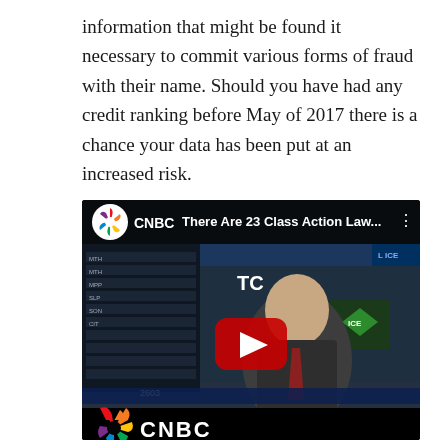information that might be found it necessary to commit various forms of fraud with their name. Should you have had any credit ranking before May of 2017 there is a chance your data has been put at an increased risk.
[Figure (screenshot): Embedded YouTube video thumbnail showing a CNBC news segment titled 'There Are 23 Class Action Law...' featuring a man in a suit with the CNBC logo, with a YouTube play button overlay.]